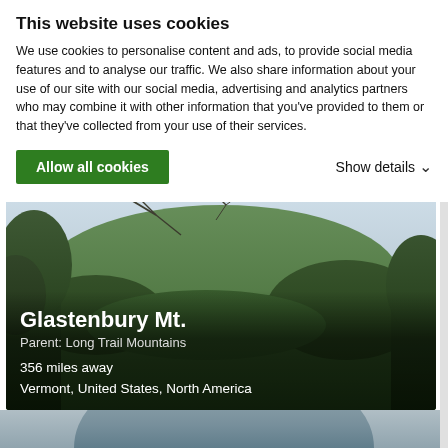This website uses cookies
We use cookies to personalise content and ads, to provide social media features and to analyse our traffic. We also share information about your use of our site with our social media, advertising and analytics partners who may combine it with other information that you've provided to them or that they've collected from your use of their services.
Allow all cookies
Show details
[Figure (photo): Aerial photo of Glastenbury Mountain in Vermont, showing a forested hillside under a light blue sky, with tree branches framing the upper portion.]
Glastenbury Mt.
Parent: Long Trail Mountains
356 miles away
Vermont, United States, North America